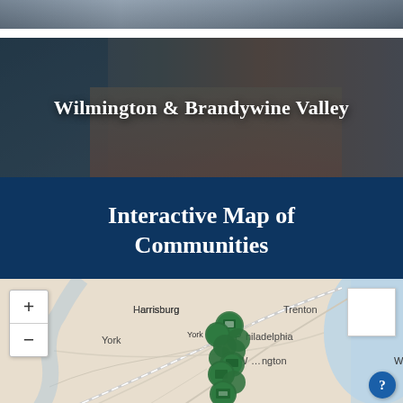[Figure (photo): Aerial/panoramic photo strip at top of page, showing a waterfront cityscape]
[Figure (photo): Aerial photo of Wilmington & Brandywine Valley waterfront, showing river, buildings and urban landscape with dark overlay]
Wilmington & Brandywine Valley
Interactive Map of Communities
[Figure (map): Interactive map showing communities in the greater Philadelphia/Wilmington/Harrisburg region with green cluster markers. Map shows cities including Harrisburg, York, Trenton, Philadelphia, Wilmington. Zoom controls (+/-) on left, legend box top right, help button bottom right.]